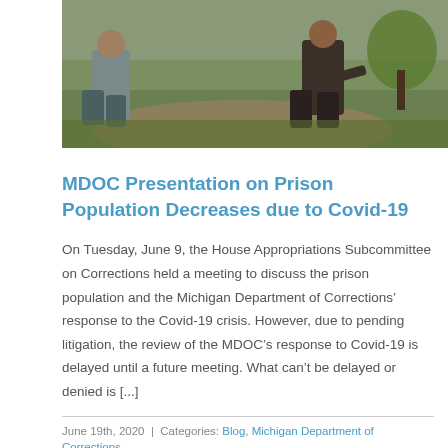[Figure (photo): Two people outdoors, one crouching and one standing, on a path with green grass in the background.]
MDOC Presentation on Prison Population Decreases due to Covid-19
On Tuesday, June 9, the House Appropriations Subcommittee on Corrections held a meeting to discuss the prison population and the Michigan Department of Corrections’ response to the Covid-19 crisis. However, due to pending litigation, the review of the MDOC’s response to Covid-19 is delayed until a future meeting. What can’t be delayed or denied is [...]
June 19th, 2020 | Categories: Blog, Michigan Department of Corrections